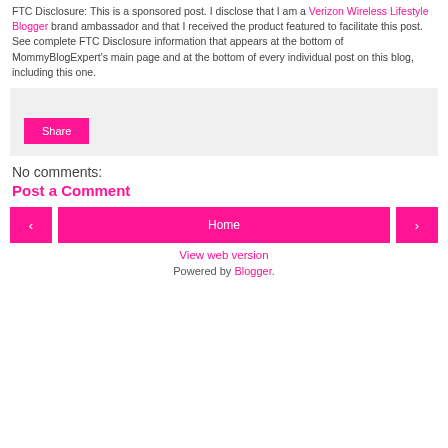FTC Disclosure: This is a sponsored post. I disclose that I am a Verizon Wireless Lifestyle Blogger brand ambassador and that I received the product featured to facilitate this post. See complete FTC Disclosure information that appears at the bottom of MommyBlogExpert's main page and at the bottom of every individual post on this blog, including this one.
[Figure (other): Social share widget box with a pink Share button on a light gray background]
No comments:
Post a Comment
[Figure (other): Navigation row with pink left arrow button, pink Home button, and pink right arrow button]
View web version
Powered by Blogger.